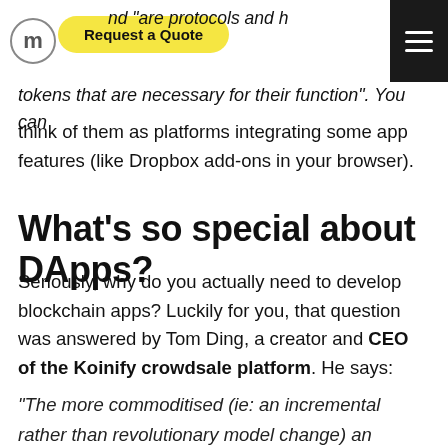Request a Quote
protocols and h… tokens that are necessary for their function". You can think of them as platforms integrating some app features (like Dropbox add-ons in your browser).
What's so special about DApps?
Seriously, why do you actually need to develop blockchain apps? Luckily for you, that question was answered by Tom Ding, a creator and CEO of the Koinify crowdsale platform. He says:
“The more commoditised (ie: an incremental rather than revolutionary model change) an industry is, the